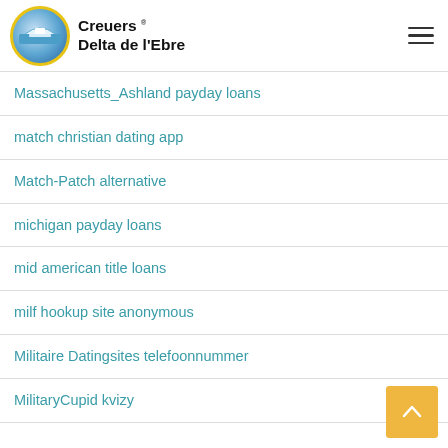Creuers Delta de l'Ebre
Massachusetts_Ashland payday loans
match christian dating app
Match-Patch alternative
michigan payday loans
mid american title loans
milf hookup site anonymous
Militaire Datingsites telefoonnummer
MilitaryCupid kvizy